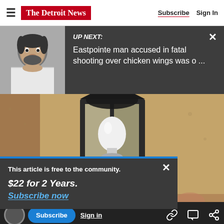The Detroit News — Subscribe  Sign In
UP NEXT: Eastpointe man accused in fatal shooting over chicken wings was o ...
[Figure (photo): Close-up photo of an outdoor wall-mounted lantern light fixture on a textured stucco wall]
This article is free to the community. $22 for 2 Years. Subscribe now
[Figure (photo): Bottom portion of main article photo showing hands]
Subscribe  Sign in